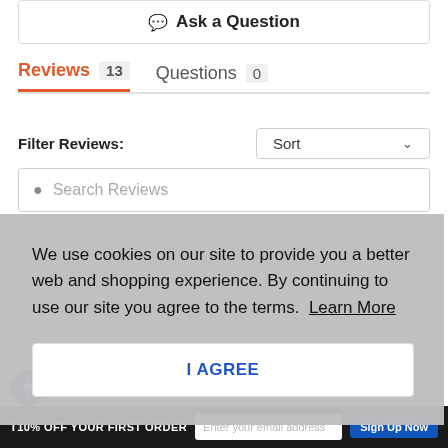[Figure (screenshot): Ask a Question button with orange chat icon]
Reviews 13    Questions 0
Filter Reviews:
[Figure (screenshot): Sort dropdown button]
[Figure (screenshot): Search Reviews input field]
13/2022
We use cookies on our site to provide you a better web and shopping experience. By continuing to use our site you agree to the terms.  Learn More
I AGREE
T10% OFF YOUR FIRST ORDER
Sign Up Now